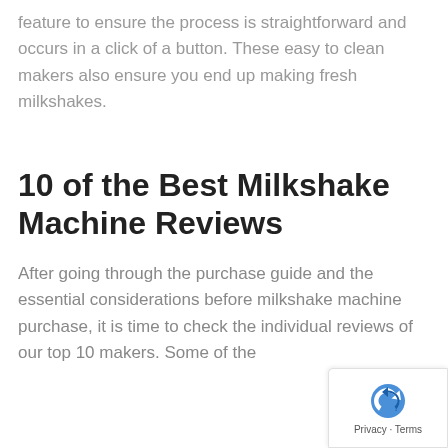feature to ensure the process is straightforward and occurs in a click of a button. These easy to clean makers also ensure you end up making fresh milkshakes.
10 of the Best Milkshake Machine Reviews
After going through the purchase guide and the essential considerations before milkshake machine purchase, it is time to check the individual reviews of our top 10 makers. Some of the